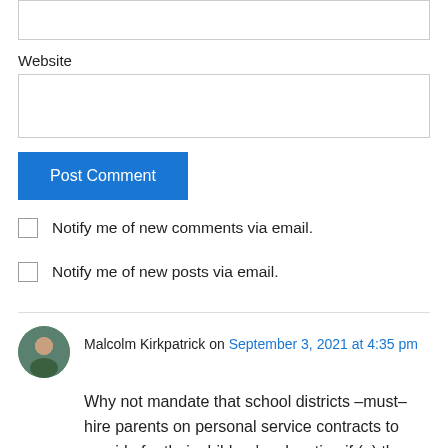Website
Post Comment
Notify me of new comments via email.
Notify me of new posts via email.
Malcolm Kirkpatrick on September 3, 2021 at 4:35 pm
Why not mandate that school districts –must– hire parents on personal service contracts to provide for their children's education if (a) the